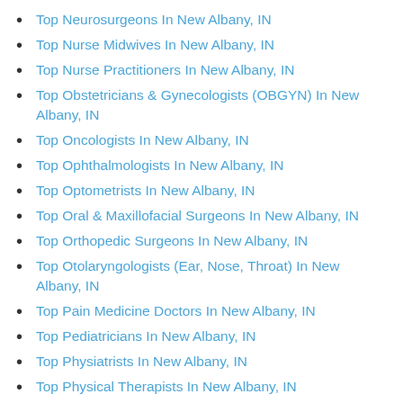Top Neurosurgeons In New Albany, IN
Top Nurse Midwives In New Albany, IN
Top Nurse Practitioners In New Albany, IN
Top Obstetricians & Gynecologists (OBGYN) In New Albany, IN
Top Oncologists In New Albany, IN
Top Ophthalmologists In New Albany, IN
Top Optometrists In New Albany, IN
Top Oral & Maxillofacial Surgeons In New Albany, IN
Top Orthopedic Surgeons In New Albany, IN
Top Otolaryngologists (Ear, Nose, Throat) In New Albany, IN
Top Pain Medicine Doctors In New Albany, IN
Top Pediatricians In New Albany, IN
Top Physiatrists In New Albany, IN
Top Physical Therapists In New Albany, IN
Top Podiatric Surgeons In New Albany, IN
Top Podiatrists In New Albany, IN
Top Psychiatrists In New Albany, IN